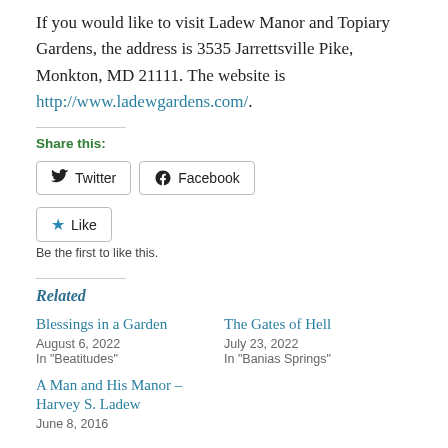If you would like to visit Ladew Manor and Topiary Gardens, the address is 3535 Jarrettsville Pike, Monkton, MD 21111. The website is http://www.ladewgardens.com/.
Share this:
Twitter  Facebook
Like
Be the first to like this.
Related
Blessings in a Garden
August 6, 2022
In "Beatitudes"
The Gates of Hell
July 23, 2022
In "Banias Springs"
A Man and His Manor – Harvey S. Ladew
June 8, 2016